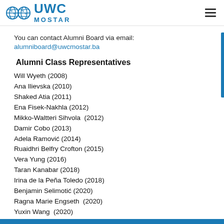UWC MOSTAR
You can contact Alumni Board via email:
alumniboard@uwcmostar.ba
Alumni Class Representatives
Will Wyeth (2008)
Ana Ilievska (2010)
Shaked Atia (2011)
Ena Fisek-Nakhla (2012)
Mikko-Waltteri Sihvola  (2012)
Damir Cobo (2013)
Adela Ramović (2014)
Ruaidhri Belfry Crofton (2015)
Vera Yung (2016)
Taran Kanabar (2018)
Irina de la Peña Toledo (2018)
Benjamin Selimotić (2020)
Ragna Marie Engseth  (2020)
Yuxin Wang  (2020)
EN BS HR SR